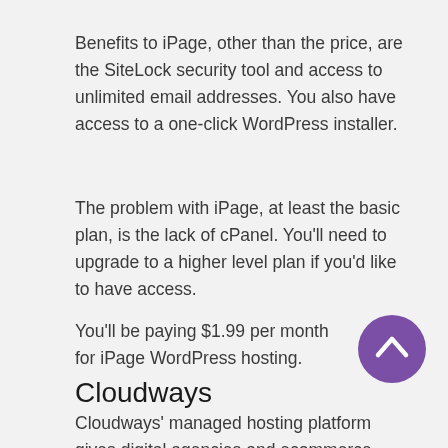Benefits to iPage, other than the price, are the SiteLock security tool and access to unlimited email addresses. You also have access to a one-click WordPress installer.
The problem with iPage, at least the basic plan, is the lack of cPanel. You'll need to upgrade to a higher level plan if you'd like to have access.
You'll be paying $1.99 per month for iPage WordPress hosting.
Cloudways
Cloudways' managed hosting platform gives digital agencies and ecommerce businesses
[Figure (other): Purple circular scroll-to-top button with an upward chevron arrow icon]